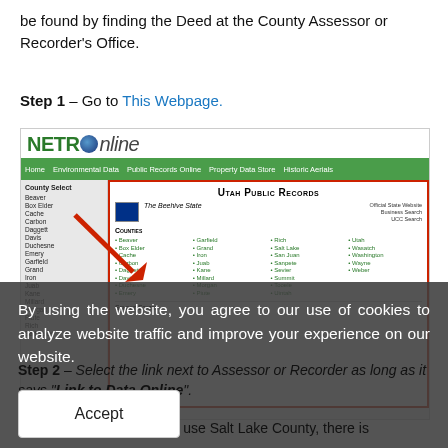be found by finding the Deed at the County Assessor or Recorder's Office.
Step 1 – Go to This Webpage.
[Figure (screenshot): Screenshot of NETROnline website showing Utah Public Records page with County Select sidebar and list of Utah counties including Beaver, Box Elder, Cache, Carbon, Daggett, Davis, Duchesne, Emery, Garfield, Grand, Iron, Juab, Kane, Millard, Morgan, Piute, Rich, Salt Lake. Main panel shows Utah Public Records heading with state counties listed. Red arrow pointing to the main content area.]
By using the website, you agree to our use of cookies to analyze website traffic and improve your experience on our website.
Step 2 – Select the link next to Assessor or Recorder as long as it says "Link to Data Online".
For this example, we will use Salt Lake County, there is